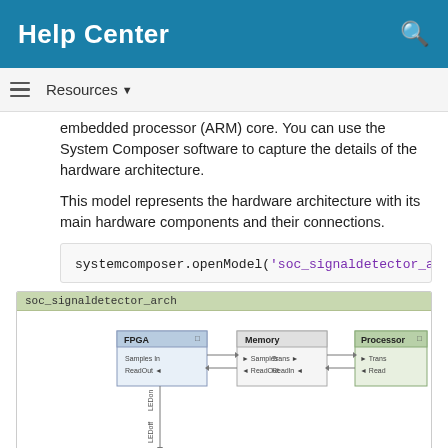Help Center
Resources
embedded processor (ARM) core. You can use the System Composer software to capture the details of the hardware architecture.
This model represents the hardware architecture with its main hardware components and their connections.
[Figure (screenshot): System Composer architecture diagram showing soc_signaldetector_arch model with FPGA, Memory, and Processor components connected, and an LED component below connected via lines.]